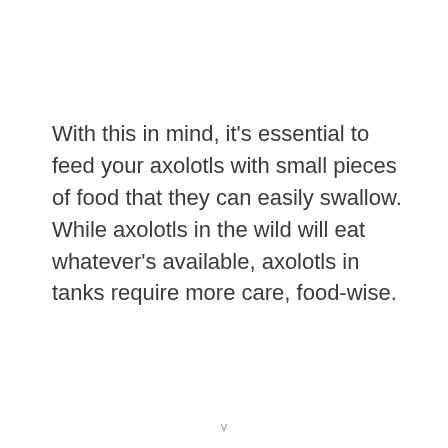With this in mind, it's essential to feed your axolotls with small pieces of food that they can easily swallow. While axolotls in the wild will eat whatever's available, axolotls in tanks require more care, food-wise.
v